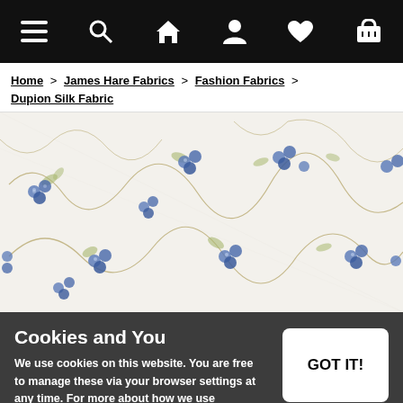Navigation bar with menu, search, home, user, wishlist, and cart icons
Home > James Hare Fabrics > Fashion Fabrics > Dupion Silk Fabric
[Figure (photo): Close-up photo of Dupion Silk Fabric with a white/cream background and scattered small blue floral/berry motifs with delicate vine tendrils in gold/olive]
Cookies and You
We use cookies on this website. You are free to manage these via your browser settings at any time. For more about how we use cookies, please see our Cookie Policy.